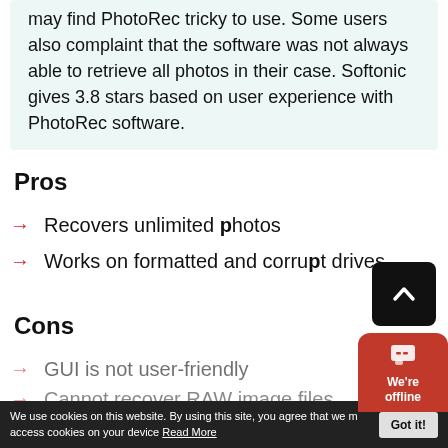may find PhotoRec tricky to use. Some users also complaint that the software was not always able to retrieve all photos in their case. Softonic gives 3.8 stars based on user experience with PhotoRec software.
Pros
Recovers unlimited photos
Works on formatted and corrupt drives
Cons
GUI is not user-friendly
Cannot recover RAW image files